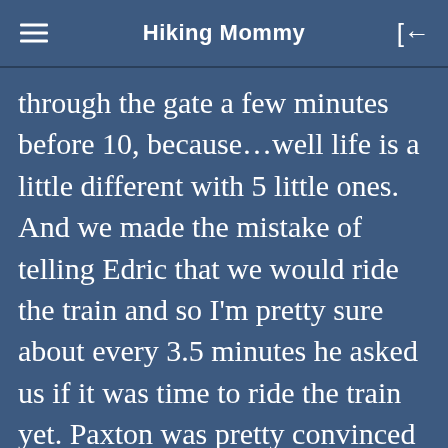Hiking Mommy
through the gate a few minutes before 10, because…well life is a little different with 5 little ones. And we made the mistake of telling Edric that we would ride the train and so I'm pretty sure about every 3.5 minutes he asked us if it was time to ride the train yet. Paxton was pretty convinced that every animal was a “puppy”.